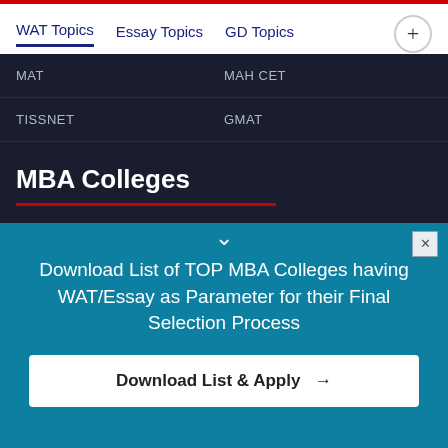WAT Topics  Essay Topics  GD Topics
MAT
MAH CET
TISSNET
GMAT
MBA Colleges
IIMs
MBA Colleges in Delhi
MBA Colleges in Hyderabad
Download List of TOP MBA Colleges having WAT/Essay as Parameter for their Final Selection Process
Download List & Apply →